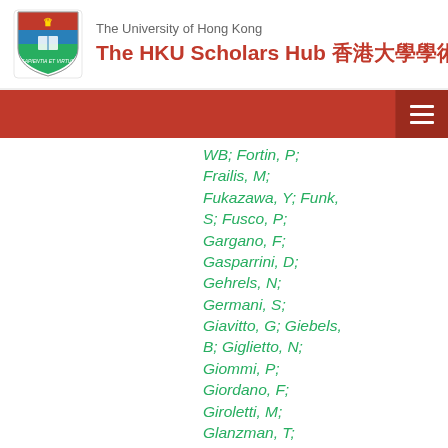The University of Hong Kong — The HKU Scholars Hub 香港大學學術庫
WB; Fortin, P; Frailis, M; Fukazawa, Y; Funk, S; Fusco, P; Gargano, F; Gasparrini, D; Gehrels, N; Germani, S; Giavitto, G; Giebels, B; Giglietto, N; Giommi, P; Giordano, F; Giroletti, M; Glanzman, T; Godfrey, G; Grenier, IA; Grondin, MH; Grove, JE; Guillemot, L;